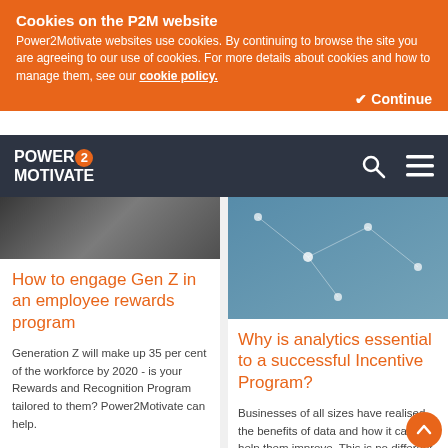Cookies on the P2M website
Power2Motivate websites use cookies. By continuing to browse the site you are agreeing to our use of cookies. For more details about cookies and how to manage them, see our cookie policy.
Continue
[Figure (logo): Power2Motivate logo with navigation bar on dark background]
[Figure (photo): Dark image of people, left article thumbnail]
How to engage Gen Z in an employee rewards program
Generation Z will make up 35 per cent of the workforce by 2020 - is your Rewards and Recognition Program tailored to them? Power2Motivate can help.
[Figure (photo): Photo of hands on a table with network/technology overlay, analytics article thumbnail]
Why is analytics essential to a successful Incentive Program?
Businesses of all sizes have realised the benefits of data and how it can help them improve. This is no different for Incentive